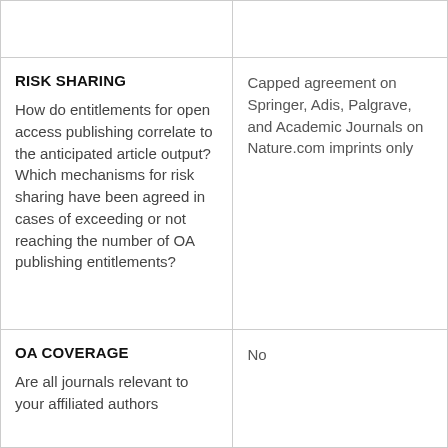| Question | Answer |
| --- | --- |
| RISK SHARING

How do entitlements for open access publishing correlate to the anticipated article output? Which mechanisms for risk sharing have been agreed in cases of exceeding or not reaching the number of OA publishing entitlements? | Capped agreement on Springer, Adis, Palgrave, and Academic Journals on Nature.com imprints only |
| OA COVERAGE

Are all journals relevant to your affiliated authors | No |